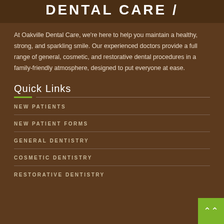DENTAL CARE /
At Oakville Dental Care, we're here to help you maintain a healthy, strong, and sparkling smile. Our experienced doctors provide a full range of general, cosmetic, and restorative dental procedures in a family-friendly atmosphere, designed to put everyone at ease.
Quick Links
NEW PATIENTS
NEW PATIENT FORMS
GENERAL DENTISTRY
COSMETIC DENTISTRY
RESTORATIVE DENTISTRY